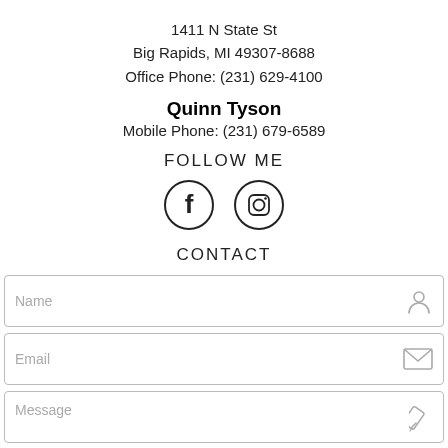1411 N State St
Big Rapids, MI 49307-8688
Office Phone: (231) 629-4100
Quinn Tyson
Mobile Phone: (231) 679-6589
FOLLOW ME
[Figure (illustration): Facebook and Instagram social media icons (circle outlines with f and camera icons)]
CONTACT
[Figure (illustration): Contact form with Name, Email, and Message input fields with corresponding icons (person, envelope, pencil)]